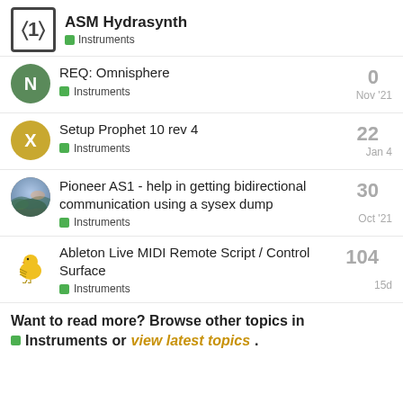ASM Hydrasynth — Instruments
REQ: Omnisphere — Instruments — Nov '21 — 0
Setup Prophet 10 rev 4 — Instruments — Jan 4 — 22
Pioneer AS1 - help in getting bidirectional communication using a sysex dump — Instruments — Oct '21 — 30
Ableton Live MIDI Remote Script / Control Surface — Instruments — 15d — 104
Want to read more? Browse other topics in Instruments or view latest topics.